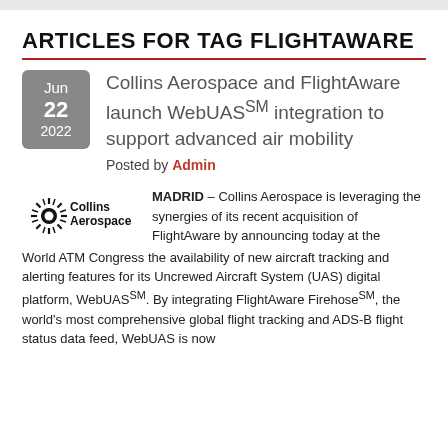ARTICLES FOR TAG FLIGHTAWARE
Collins Aerospace and FlightAware launch WebUAS℠ integration to support advanced air mobility
Posted by Admin
[Figure (logo): Collins Aerospace logo with sunburst graphic and company name]
MADRID – Collins Aerospace is leveraging the synergies of its recent acquisition of FlightAware by announcing today at the World ATM Congress the availability of new aircraft tracking and alerting features for its Uncrewed Aircraft System (UAS) digital platform, WebUASSM. By integrating FlightAware FirehoseSM, the world's most comprehensive global flight tracking and ADS-B flight status data feed, WebUAS is now